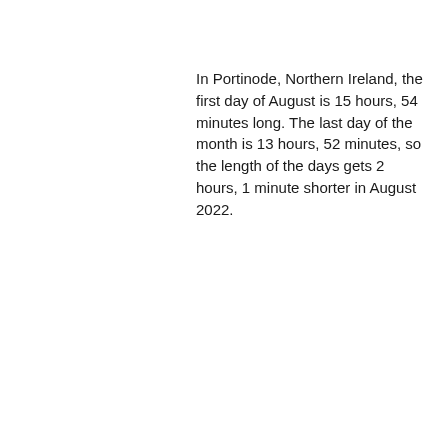In Portinode, Northern Ireland, the first day of August is 15 hours, 54 minutes long. The last day of the month is 13 hours, 52 minutes, so the length of the days gets 2 hours, 1 minute shorter in August 2022.